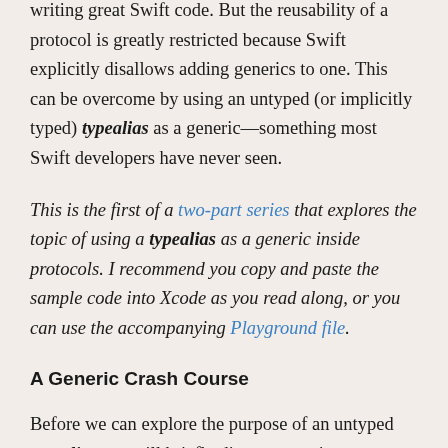writing great Swift code. But the reusability of a protocol is greatly restricted because Swift explicitly disallows adding generics to one. This can be overcome by using an untyped (or implicitly typed) typealias as a generic—something most Swift developers have never seen.
This is the first of a two-part series that explores the topic of using a typealias as a generic inside protocols. I recommend you copy and paste the sample code into Xcode as you read along, or you can use the accompanying Playground file.
A Generic Crash Course
Before we can explore the purpose of an untyped typealias, we will briefly discuss generics to ensure